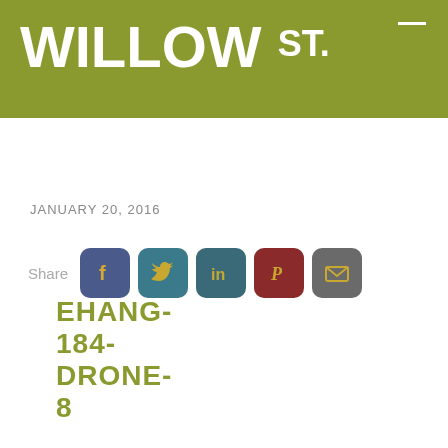WILLOW ST.
EHANG-184-DRONE-8
JANUARY 20, 2016
Share
[Figure (photo): Photo of the Ehang 184 autonomous aerial vehicle (drone taxi) displayed at an exhibition, with a person seated inside the egg-shaped pod cockpit, surrounded by spectators/crowd]